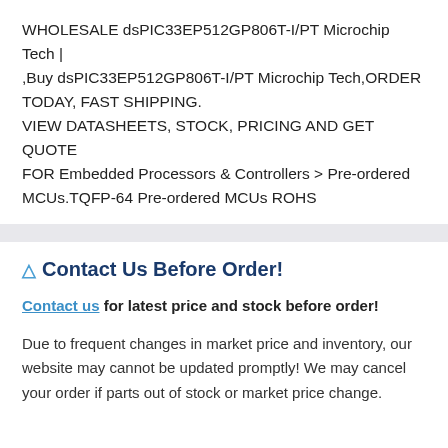WHOLESALE dsPIC33EP512GP806T-I/PT Microchip Tech | ,Buy dsPIC33EP512GP806T-I/PT Microchip Tech,ORDER TODAY, FAST SHIPPING. VIEW DATASHEETS, STOCK, PRICING AND GET QUOTE FOR Embedded Processors & Controllers > Pre-ordered MCUs.TQFP-64 Pre-ordered MCUs ROHS
⚠ Contact Us Before Order!
Contact us for latest price and stock before order!
Due to frequent changes in market price and inventory, our website may cannot be updated promptly! We may cancel your order if parts out of stock or market price change.